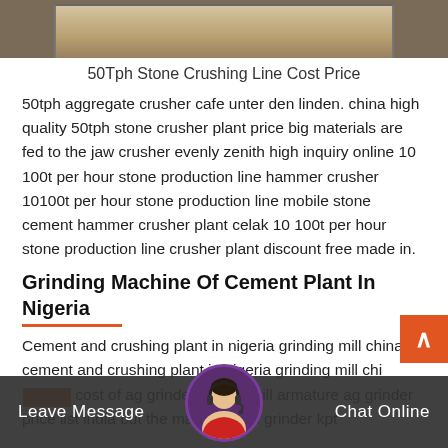[Figure (photo): Top portion of machinery/equipment photo, showing what appears to be a stone crusher or industrial equipment with beige/tan coloring on dark background]
50Tph Stone Crushing Line Cost Price
50tph aggregate crusher cafe unter den linden. china high quality 50tph stone crusher plant price big materials are fed to the jaw crusher evenly zenith high inquiry online 10 100t per hour stone production line hammer crusher 10100t per hour stone production line mobile stone cement hammer crusher plant celak 10 100t per hour stone production line crusher plant discount free made in.
Grinding Machine Of Cement Plant In Nigeria
Cement and crushing plant in nigeria grinding mill china cement and crushing plant in nigeria grinding mill china cost of ag grinder in india grill armature ag grinder price list india but the makita angle grinder kpt